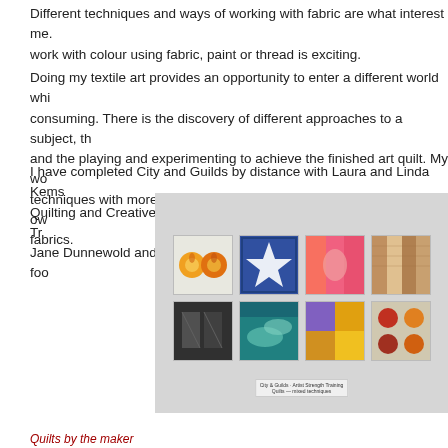Different techniques and ways of working with fabric are what interest me. work with colour using fabric, paint or thread is exciting.
Doing my textile art provides an opportunity to enter a different world which is consuming. There is the discovery of different approaches to a subject, the and the playing and experimenting to achieve the finished art quilt. My wo techniques with more innovative surface design and uses some of my own fabrics.
I have completed City and Guilds by distance with Laura and Linda Kems Quilting and Creative Sketchbooks. I also undertook an Artist Strength Tr Jane Dunnewold and found this very helpful in terms of reflection and foo
[Figure (photo): A gallery wall displaying eight small textile art quilts hung in two rows. Top row: orange circles quilt, blue star quilt, pink/orange abstract quilt, beige/brown textured quilt. Bottom row: dark abstract quilt, teal/green quilt, purple/yellow quilt, colorful circles quilt.]
Quilts by the maker